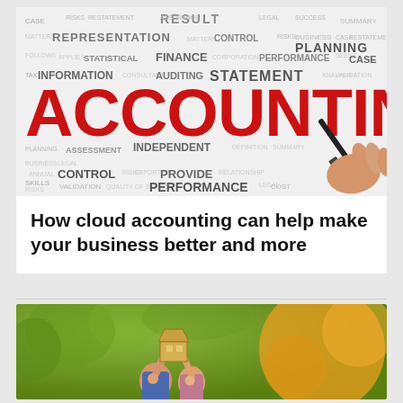[Figure (illustration): Accounting word cloud illustration featuring the word ACCOUNTING in large red bold letters, with a hand holding a black marker pen. Background contains various accounting-related terms in grey: RESULT, REPRESENTATION, CONTROL, FINANCE, PERFORMANCE, STATEMENT, INFORMATION, AUDITING, STATISTICAL, ASSESSMENT, INDEPENDENT, CONTROL, PROVIDE, PERFORMANCE, CONSULTANT, PLANNING, BUSINESS, CASE, etc.]
How cloud accounting can help make your business better and more
[Figure (photo): Photo of a smiling couple outdoors holding up a cardboard house cutout/model above their heads, with green trees and warm orange/golden light bokeh in the background.]